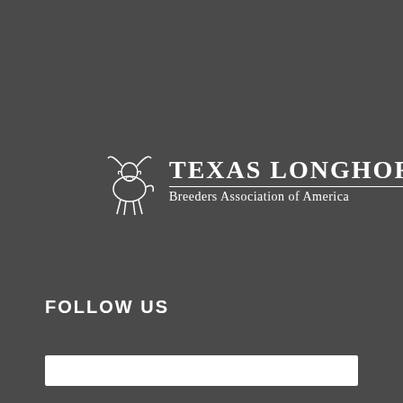[Figure (logo): Texas Longhorn Breeders Association of America logo: a line-art longhorn steer illustration on the left, with 'TEXAS LONGHORN' in large serif bold text and 'Breeders Association of America' in smaller serif text below a horizontal rule, all in white on dark gray background]
FOLLOW US
[Figure (other): White horizontal bar/rectangle, likely a social media follow widget or input field area]